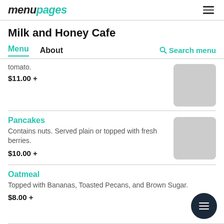menupages
Milk and Honey Cafe
Menu   About   Search menu
tomato.
$11.00 +
Pancakes
Contains nuts. Served plain or topped with fresh berries.
$10.00 +
Oatmeal
Topped with Bananas, Toasted Pecans, and Brown Sugar.
$8.00 +